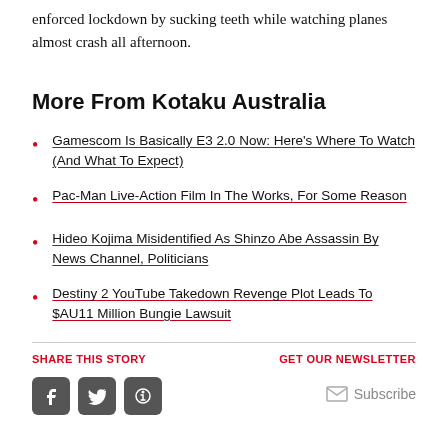enforced lockdown by sucking teeth while watching planes almost crash all afternoon.
More From Kotaku Australia
Gamescom Is Basically E3 2.0 Now: Here's Where To Watch (And What To Expect)
Pac-Man Live-Action Film In The Works, For Some Reason
Hideo Kojima Misidentified As Shinzo Abe Assassin By News Channel, Politicians
Destiny 2 YouTube Takedown Revenge Plot Leads To $AU11 Million Bungie Lawsuit
SHARE THIS STORY   GET OUR NEWSLETTER   Subscribe